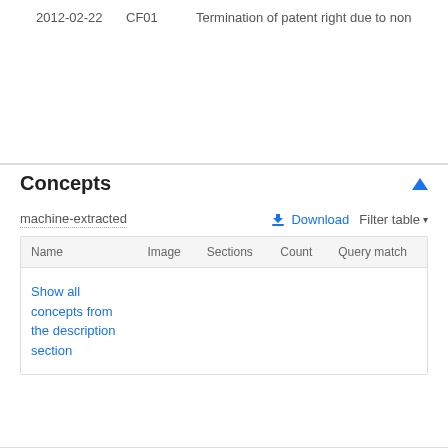| Date | Code | Description |
| --- | --- | --- |
| 2012-02-22 | CF01 | Termination of patent right due to non-payme |
Concepts
machine-extracted
| Name | Image | Sections | Count | Query match |
| --- | --- | --- | --- | --- |
| Show all concepts from the description section |  |  |  |  |